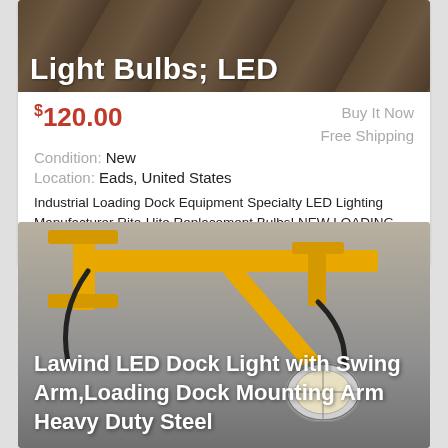[Figure (photo): Dark brownish background image of light bulbs with white text overlay reading 'Light Bulbs; LED']
$120.00
Buy It Now
Free Shipping
Condition: New
Location: Eads, United States
Industrial Loading Dock Equipment Specialty LED Lighting Manufacturer Rite-Hite Replacement Bulbs! NEW LOADING DOCK COMMUNICATION LIGHT Replacement LED ... more
[Figure (photo): Yellow metal loading dock swing arm light with heavy duty steel construction, shown against a grey gradient background. Text overlay reads: Lawind LED Dock Light with Swing Arm,Loading Dock Mounting Arm Heavy Duty Steel]